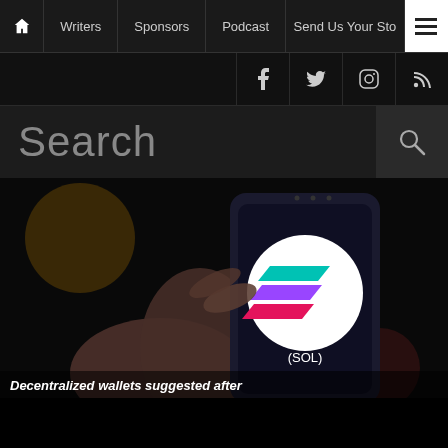Home | Writers | Sponsors | Podcast | Send Us Your Story | Menu
Social icons: Facebook, Twitter, Instagram, RSS
Search
[Figure (photo): Hand holding a smartphone displaying the Solana (SOL) logo on screen, with colorful bokeh background]
Decentralized wallets suggested after